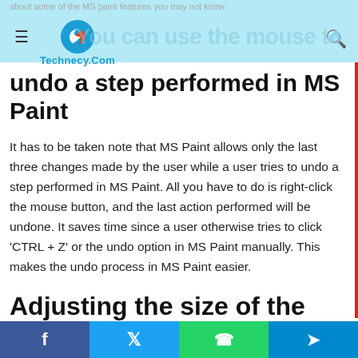about some of the MS paint features you may not know
[Figure (logo): Technecy.Com logo with arrow icon]
You can use the mouse to undo a step performed in MS Paint
It has to be taken note that MS Paint allows only the last three changes made by the user while a user tries to undo a step performed in MS Paint. All you have to do is right-click the mouse button, and the last action performed will be undone. It saves time since a user otherwise tries to click 'CTRL + Z' or the undo option in MS Paint manually. This makes the undo process in MS Paint easier.
Adjusting the size of the
Facebook Twitter WhatsApp Telegram